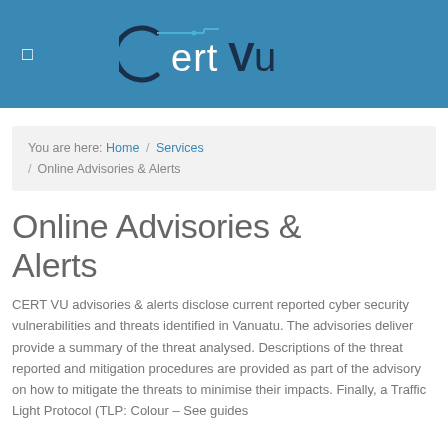CertVu
You are here: Home / Services / Online Advisories & Alerts
Online Advisories & Alerts
CERT VU advisories & alerts disclose current reported cyber security vulnerabilities and threats identified in Vanuatu. The advisories deliver provide a summary of the threat analysed. Descriptions of the threat reported and mitigation procedures are provided as part of the advisory on how to mitigate the threats to minimise their impacts. Finally, a Traffic Light Protocol (TLP: Colour – See guides